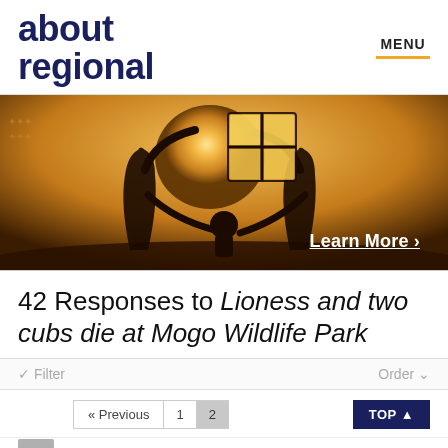about regional
[Figure (photo): Silhouette of family holding up a house-shaped window frame against a golden sunset sky, with 'Learn More >' text overlay in the lower right corner of the image.]
42 Responses to Lioness and two cubs die at Mogo Wildlife Park
Filter | Order
« Previous  1  2  TOP ▲